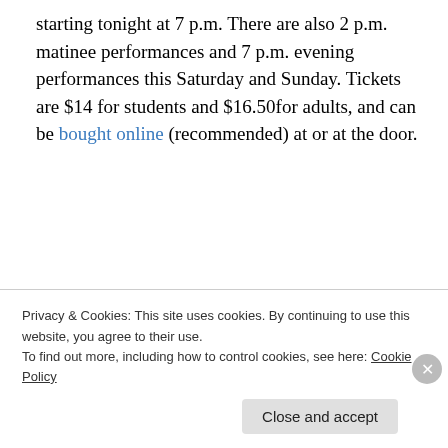starting tonight at 7 p.m. There are also 2 p.m. matinee performances and 7 p.m. evening performances this Saturday and Sunday. Tickets are $14 for students and $16.50for adults, and can be bought online (recommended) at or at the door.
Advertisements
[Figure (illustration): Advertisement banner with beige background showing text 'Professionally designed sites in less than a week' with decorative card elements]
Privacy & Cookies: This site uses cookies. By continuing to use this website, you agree to their use.
To find out more, including how to control cookies, see here: Cookie Policy